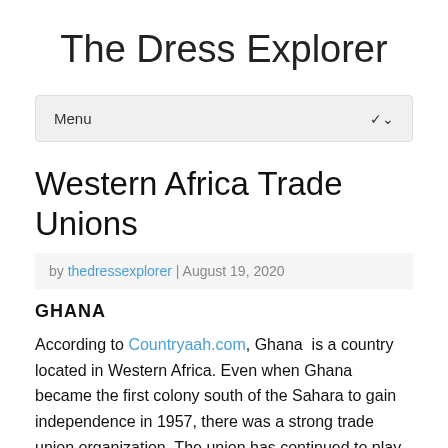The Dress Explorer
Western Africa Trade Unions
by thedressexplorer | August 19, 2020
GHANA
According to Countryaah.com, Ghana  is a country located in Western Africa. Even when Ghana became the first colony south of the Sahara to gain independence in 1957, there was a strong trade union organization. The union has continued to play an important role in society and the